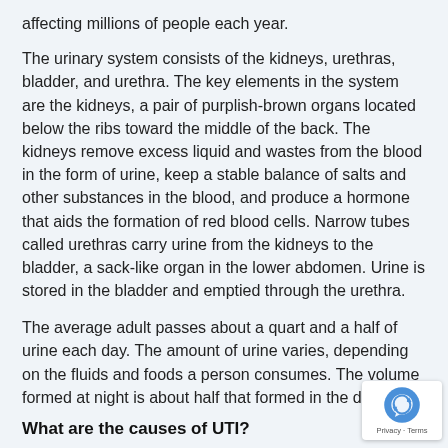affecting millions of people each year.
The urinary system consists of the kidneys, urethras, bladder, and urethra. The key elements in the system are the kidneys, a pair of purplish-brown organs located below the ribs toward the middle of the back. The kidneys remove excess liquid and wastes from the blood in the form of urine, keep a stable balance of salts and other substances in the blood, and produce a hormone that aids the formation of red blood cells. Narrow tubes called urethras carry urine from the kidneys to the bladder, a sack-like organ in the lower abdomen. Urine is stored in the bladder and emptied through the urethra.
The average adult passes about a quart and a half of urine each day. The amount of urine varies, depending on the fluids and foods a person consumes. The volume formed at night is about half that formed in the daytime.
What are the causes of UTI?